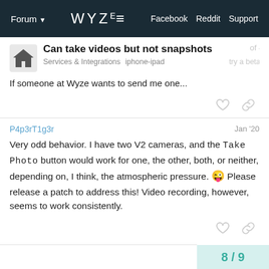Forum | WYZE | Facebook | Reddit | Support
Can take videos but not snapshots
Services & Integrations  iphone-ipad
If someone at Wyze wants to send me one...
P4p3rT1g3r  Jan '20
Very odd behavior. I have two V2 cameras, and the Take Photo button would work for one, the other, both, or neither, depending on, I think, the atmospheric pressure. 😜 Please release a patch to address this! Video recording, however, seems to work consistently.